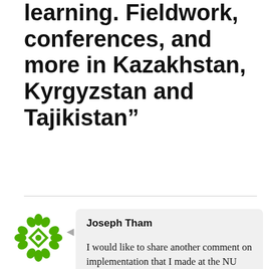learning. Fieldwork, conferences, and more in Kazakhstan, Kyrgyzstan and Tajikistan"
Joseph Tham
I would like to share another comment on implementation that I made at the NU Conference on governance and it would